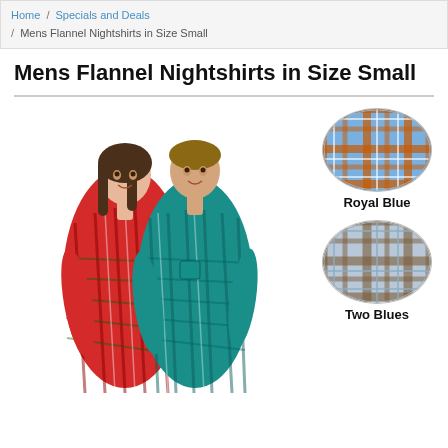Home / Specials and Deals / Mens Flannel Nightshirts in Size Small
Mens Flannel Nightshirts in Size Small
[Figure (photo): A man and woman wearing flannel plaid nightshirts. The woman wears a red plaid nightshirt and the man wears a teal/blue plaid nightshirt. Two oval fabric swatches are shown to the right: 'Royal Blue' (blue plaid with orange accents) and 'Two Blues' (light blue and brown plaid).]